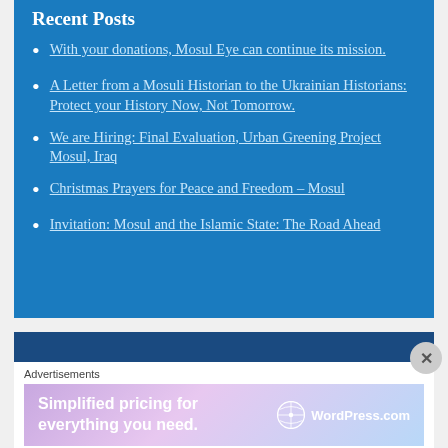Recent Posts
With your donations, Mosul Eye can continue its mission.
A Letter from a Mosuli Historian to the Ukrainian Historians: Protect your History Now, Not Tomorrow.
We are Hiring: Final Evaluation, Urban Greening Project Mosul, Iraq
Christmas Prayers for Peace and Freedom – Mosul
Invitation: Mosul and the Islamic State: The Road Ahead
Advertisements
[Figure (infographic): WordPress.com advertisement banner: 'Simplified pricing for everything you need.' with WordPress.com logo]